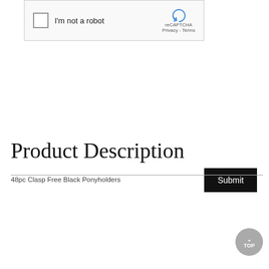[Figure (screenshot): reCAPTCHA widget with checkbox 'I'm not a robot' and reCAPTCHA logo with Privacy-Terms text]
[Figure (screenshot): Submit button, black background with white text]
Product Description
48pc Clasp Free Black Ponyholders
| Field | Value |
| --- | --- |
| STYLE # | 342114PH |
| BRAND | ILLUMINATE |
| PRODUCT TYPE | PONYHOLDERS |
| AGE GROUP | LADIES |
| UPC | 020748141568 |